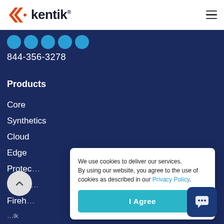[Figure (logo): Kentik logo with orange double-chevron icon and dark text]
844-356-3278
Products
Core
Synthetics
Cloud
Edge
Protec...
Servic...
Fireh...
We use cookies to deliver our services. By using our website, you agree to the use of cookies as described in our Privacy Policy.
I Agree